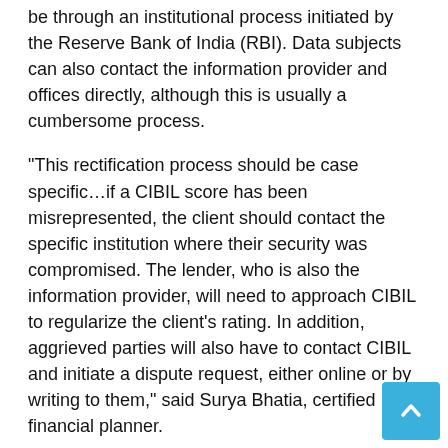be through an institutional process initiated by the Reserve Bank of India (RBI). Data subjects can also contact the information provider and offices directly, although this is usually a cumbersome process.
“This rectification process should be case specific…if a CIBIL score has been misrepresented, the client should contact the specific institution where their security was compromised. The lender, who is also the information provider, will need to approach CIBIL to regularize the client’s rating. In addition, aggrieved parties will also have to contact CIBIL and initiate a dispute request, either online or by writing to them,” said Surya Bhatia, certified financial planner.
A simpler way suggested by financial experts is to request the RBI to step in and provide relief to aggrieved customers as many people have been affected recently.
“The easiest and most transparent way is for credit institutions to correct them with credit bureaus. As thousands of customers